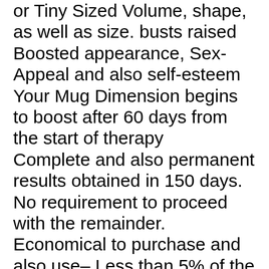or Tiny Sized Volume, shape, as well as size. busts raised Boosted appearance, Sex-Appeal and also self-esteem Your Mug Dimension begins to boost after 60 days from the start of therapy Complete and also permanent results obtained in 150 days. No requirement to proceed with the remainder. Economical to purchase and also use– Less than 5% of the expense of implants No embarrassing medical professional's check outs– Your breasts improve in the privacy of your residence No danger of unfavorable side effects Shipped and also invoiced worldwide. Discreetly packaged to shield your privacy These results can be life transforming. They